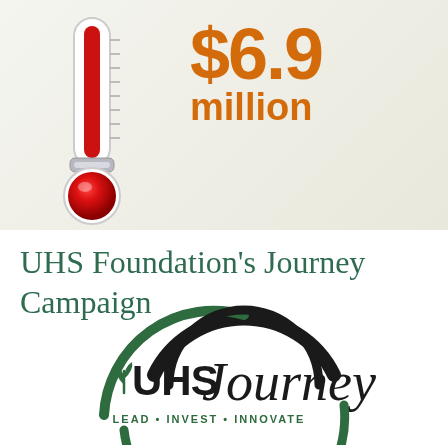[Figure (infographic): Thermometer graphic filled with red mercury nearly to the top, with silver clasp in middle and red bulb at bottom. Next to it is large orange bold text showing $6.9 million campaign total.]
UHS Foundation's Journey Campaign
[Figure (logo): UHS Journey logo: circular arcs in black and dark green, leaf sprout icon in green, text 'UHS Journey' in black serif/sans mix, tagline 'LEAD • INVEST • INNOVATE' in green.]